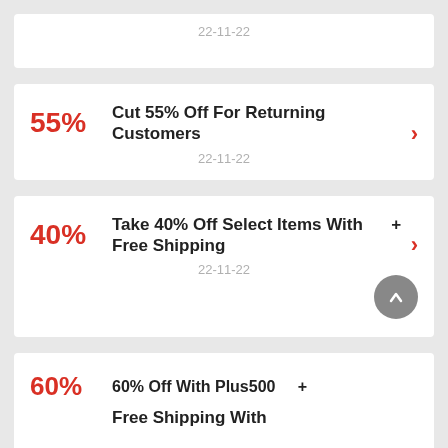22-11-22
55% — Cut 55% Off For Returning Customers — 22-11-22
40% — Take 40% Off Select Items With + Free Shipping — 22-11-22
60% — 60% Off With Plus500 + Free Shipping With…